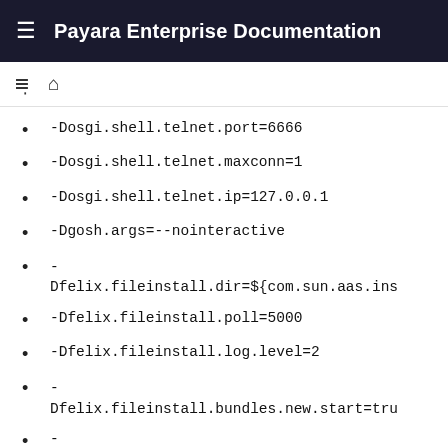Payara Enterprise Documentation
-Dosgi.shell.telnet.port=6666
-Dosgi.shell.telnet.maxconn=1
-Dosgi.shell.telnet.ip=127.0.0.1
-Dgosh.args=--nointeractive
-
Dfelix.fileinstall.dir=${com.sun.aas.ins
-Dfelix.fileinstall.poll=5000
-Dfelix.fileinstall.log.level=2
-
Dfelix.fileinstall.bundles.new.start=tru
-